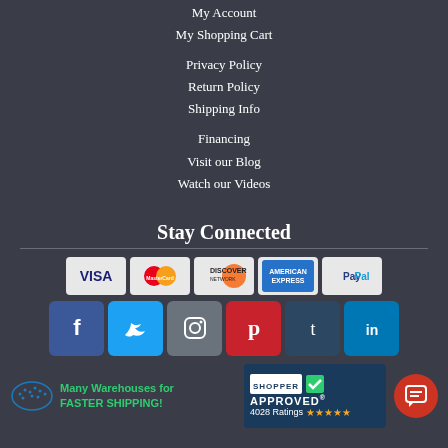My Account
My Shopping Cart
Privacy Policy
Return Policy
Shipping Info
Financing
Visit our Blog
Watch our Videos
Stay Connected
[Figure (logo): Payment method logos: Visa, MasterCard, Discover, American Express, PayPal]
[Figure (logo): Social media icons: Facebook, Twitter, Instagram, Pinterest, Tumblr, LinkedIn]
[Figure (infographic): Many Warehouses for FASTER SHIPPING! badge with USA map icon]
[Figure (logo): Shopper Approved badge with 4028 Ratings and star rating]
[Figure (logo): Chat bubble icon]